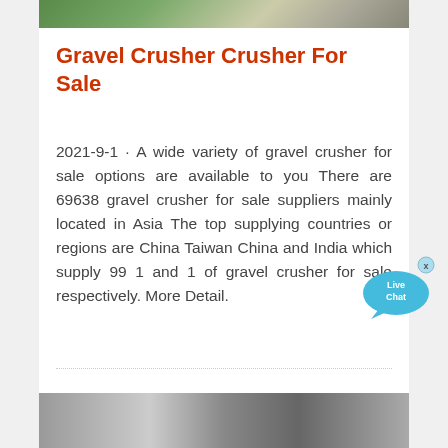[Figure (photo): Top partial image showing an outdoor or desk scene with green and neutral tones, partially cropped]
Gravel Crusher Crusher For Sale
2021-9-1 · A wide variety of gravel crusher for sale options are available to you There are 69638 gravel crusher for sale suppliers mainly located in Asia The top supplying countries or regions are China Taiwan China and India which supply 99 1 and 1 of gravel crusher for sale respectively. More Detail.
[Figure (photo): Bottom partial image showing industrial machinery, partially cropped at page bottom]